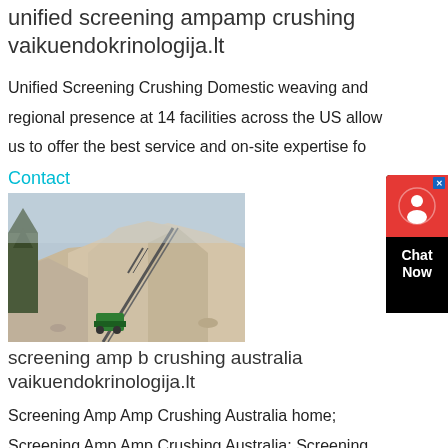unified screening ampamp crushing vaikuendokrinologija.lt
Unified Screening Crushing Domestic weaving and regional presence at 14 facilities across the US allow us to offer the best service and on-site expertise fo
Contact
[Figure (photo): Industrial screening and crushing equipment with conveyor belt on a large gravel/sand stockpile site outdoors.]
screening amp b crushing australia vaikuendokrinologija.lt
Screening Amp Amp Crushing Australia home; Screening Amp Amp Crushing Australia; Screening Amp Amp Crushing Australia; Screening Amp Amp